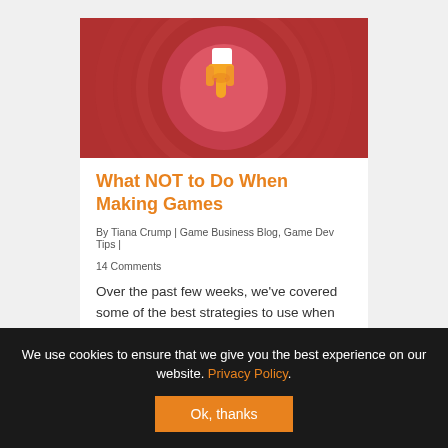[Figure (illustration): Red background hero image with concentric circles and a thumbs-down emoji/icon in the center on a pink/rose circle]
What NOT to Do When Making Games
By Tiana Crump | Game Business Blog, Game Dev Tips | 14 Comments
Over the past few weeks, we've covered some of the best strategies to use when making games, but what about the ones you should avoid? If
We use cookies to ensure that we give you the best experience on our website. Privacy Policy.
Ok, thanks